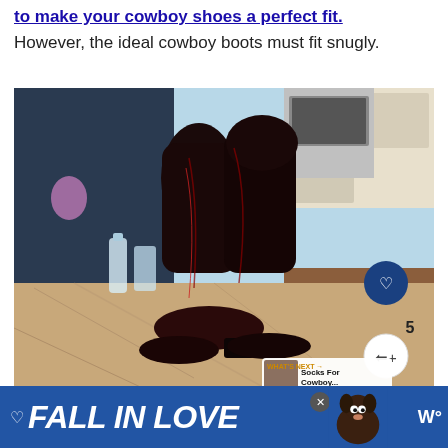to make your cowboy shoes a perfect fit.
However, the ideal cowboy boots must fit snugly.
[Figure (photo): Dark brown/black leather cowboy boots sitting on a granite kitchen countertop, with a kitchen including stainless steel appliances and white cabinets in the background. Social media UI overlays visible including a heart/like button, share button, number 5, and a 'What's Next' thumbnail showing 'Socks For Cowboy...']
Lucchesi Cowboy Boots
[Figure (infographic): Advertisement banner: blue background with heart icon, 'FALL IN LOVE' text in large white italic bold font, a dog image on the right, and a weather widget showing 'W°' on the far right. An X close button is visible.]